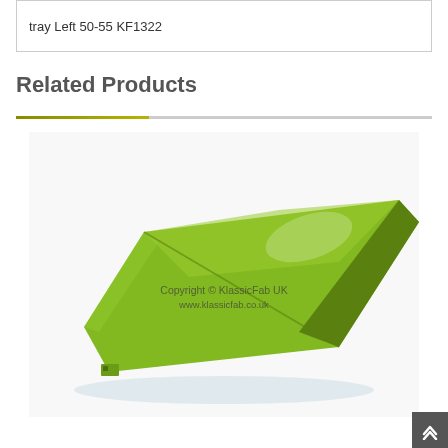tray Left 50-55 KF1322
Related Products
[Figure (photo): A green painted metal tray panel (left side, model years 50-55, part number KF1322) photographed on a white background. The part is elongated and wedge-shaped, painted in bright lime/yellow-green. A watermark reads 'Copyright © KlassicFab UK / www.klassicfab.co.uk'.]